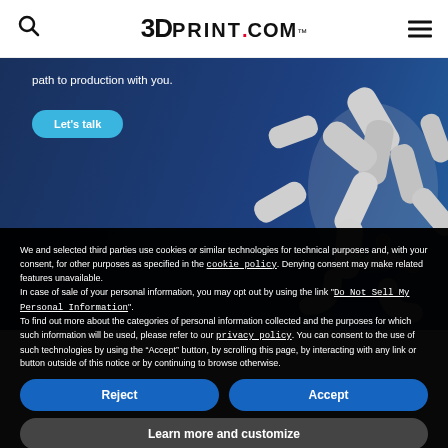3DPrint.com
[Figure (photo): 3D printed parts/components in white/grey on a dark blue background with 'Let's talk' button and partial text 'path to production with you.']
We and selected third parties use cookies or similar technologies for technical purposes and, with your consent, for other purposes as specified in the cookie policy. Denying consent may make related features unavailable.
In case of sale of your personal information, you may opt out by using the link "Do Not Sell My Personal Information".
To find out more about the categories of personal information collected and the purposes for which such information will be used, please refer to our privacy policy. You can consent to the use of such technologies by using the “Accept” button, by scrolling this page, by interacting with any link or button outside of this notice or by continuing to browse otherwise.
Reject
Accept
Learn more and customize